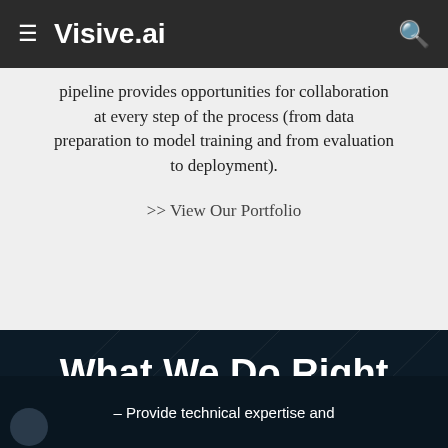≡  Visive.ai  🔍
pipeline provides opportunities for collaboration at every step of the process (from data preparation to model training and from evaluation to deployment).
>> View Our Portfolio
What We Do Right
– Provide technical expertise and